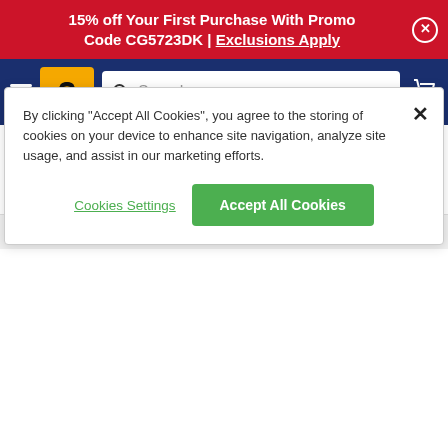15% off Your First Purchase With Promo Code CG5723DK | Exclusions Apply
[Figure (screenshot): Navigation bar with hamburger menu, Cycle Gear logo, search bar, and cart icon on dark blue background]
Riders Plus Membership
$59.99
REV'IT! Eclipse Jacket
$189.99
Alpinestars SMX-1 Air v2 Gloves
$59.95
By clicking "Accept All Cookies", you agree to the storing of cookies on your device to enhance site navigation, analyze site usage, and assist in our marketing efforts.
Cookies Settings
Accept All Cookies